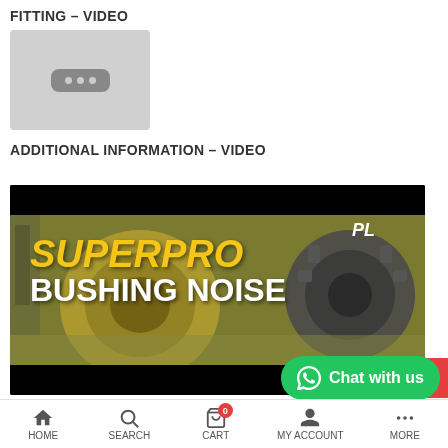FITTING – VIDEO
[Figure (screenshot): Small grey video thumbnail placeholder with three dots icon indicating a loading or unavailable video]
ADDITIONAL INFORMATION – VIDEO
[Figure (screenshot): Large video thumbnail showing auto parts (bushings) with bold yellow text SUPERPRO and white text BUSHING NOISE on a workshop background with PL logo visible]
HOME  SEARCH  CART  MY ACCOUNT  MORE